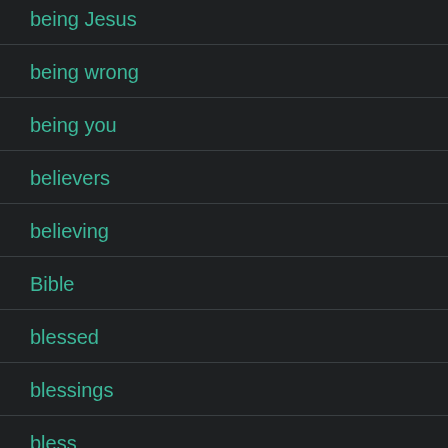being Jesus
being wrong
being you
believers
believing
Bible
blessed
blessings
bless...